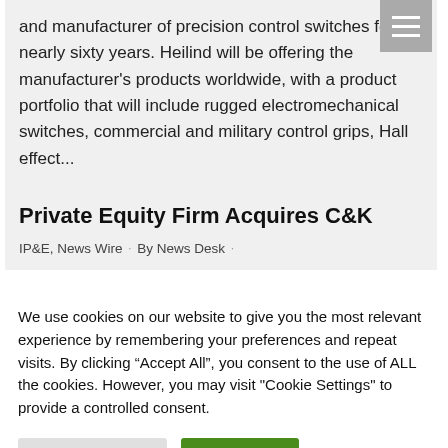and manufacturer of precision control switches for nearly sixty years. Heilind will be offering the manufacturer's products worldwide, with a product portfolio that will include rugged electromechanical switches, commercial and military control grips, Hall effect...
Private Equity Firm Acquires C&K
IP&E, News Wire · By News Desk ·
We use cookies on our website to give you the most relevant experience by remembering your preferences and repeat visits. By clicking "Accept All", you consent to the use of ALL the cookies. However, you may visit "Cookie Settings" to provide a controlled consent.
Cookie Settings | Accept All